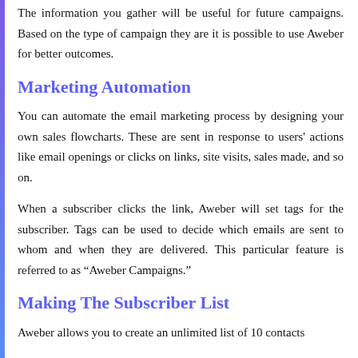The information you gather will be useful for future campaigns. Based on the type of campaign they are it is possible to use Aweber for better outcomes.
Marketing Automation
You can automate the email marketing process by designing your own sales flowcharts. These are sent in response to users' actions like email openings or clicks on links, site visits, sales made, and so on.
When a subscriber clicks the link, Aweber will set tags for the subscriber. Tags can be used to decide which emails are sent to whom and when they are delivered. This particular feature is referred to as “Aweber Campaigns.”
Making The Subscriber List
Aweber allows you to create an unlimited list of 10 contacts